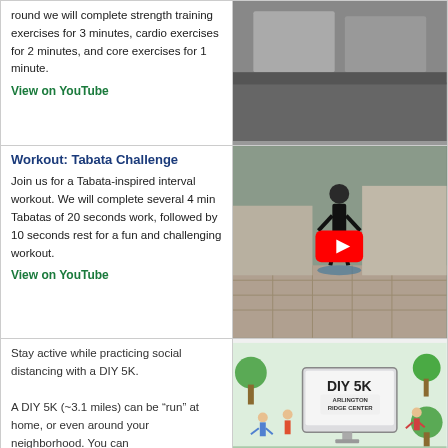round we will complete strength training exercises for 3 minutes, cardio exercises for 2 minutes, and core exercises for 1 minute.
View on YouTube
[Figure (photo): Photo of a fitness class or workout session]
Workout: Tabata Challenge
Join us for a Tabata-inspired interval workout. We will complete several 4 min Tabatas of 20 seconds work, followed by 10 seconds rest for a fun and challenging workout.
View on YouTube
[Figure (photo): Outdoor workout video thumbnail with YouTube play button, person standing outdoors on patio]
Stay active while practicing social distancing with a DIY 5K.
A DIY 5K (~3.1 miles) can be “run” at home, or even around your neighborhood. You can
[Figure (illustration): DIY 5K Arlington Ridge Center illustrated graphic with people exercising and a monitor displaying DIY 5K logo]